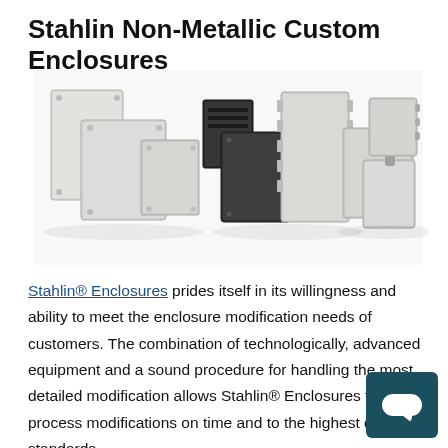Stahlin Non-Metallic Custom Enclosures
[Figure (photo): Product photo showing multiple Stahlin non-metallic enclosures in various sizes and colors including light grey and dark/black variants, arranged in three groups against a white background.]
Stahlin® Enclosures prides itself in its willingness and ability to meet the enclosure modification needs of customers. The combination of technologically, advanced equipment and a sound procedure for handling the most detailed modification allows Stahlin® Enclosures to process modifications on time and to the highest quality standards.